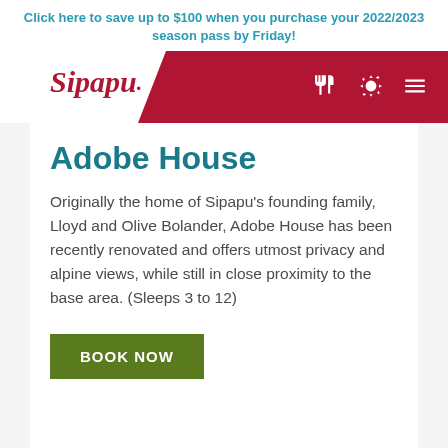Click here to save up to $100 when you purchase your 2022/2023 season pass by Friday!
[Figure (logo): Sipapu logo with red banner navigation bar containing fork/knife icon, sun icon, and hamburger menu icon]
Adobe House
Originally the home of Sipapu's founding family, Lloyd and Olive Bolander, Adobe House has been recently renovated and offers utmost privacy and alpine views, while still in close proximity to the base area. (Sleeps 3 to 12)
BOOK NOW